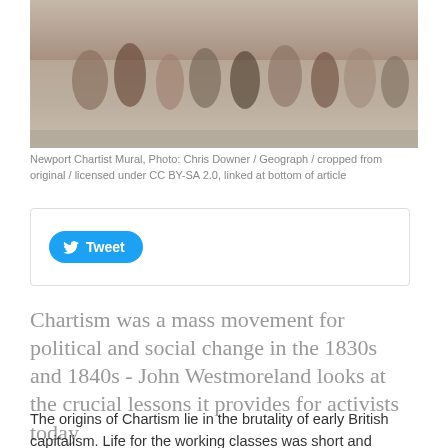[Figure (photo): Newport Chartist Mural photo showing people at a mural, cropped image]
Newport Chartist Mural, Photo: Chris Downer / Geograph / cropped from original / licensed under CC BY-SA 2.0, linked at bottom of article
[Figure (screenshot): Tweet button widget in a bordered box]
Chartism was a mass movement for political and social change in the 1830s and 1840s - John Westmoreland looks at the crucial lessons it provides for activists today
The origins of Chartism lie in the brutality of early British capitalism. Life for the working classes was short and miserable. The average life expectancy for a Manchester